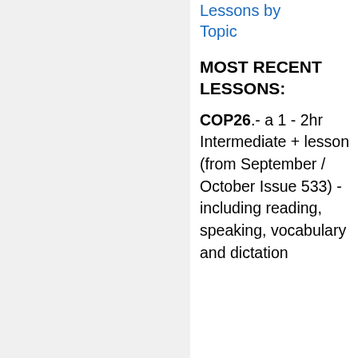Index to Ready Lessons by Topic
MOST RECENT LESSONS:
COP26.- a 1 - 2hr Intermediate + lesson (from September / October Issue 533) - including reading, speaking, vocabulary and dictation